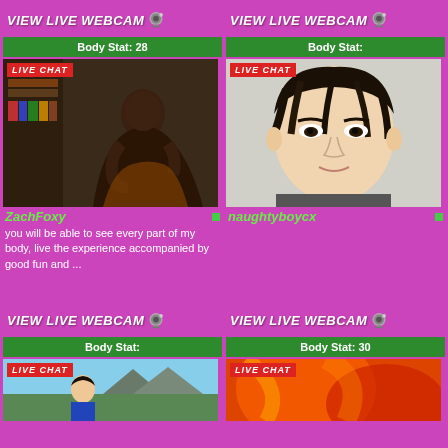[Figure (screenshot): Top-left webcam card: VIEW LIVE WEBCAM button, Body Stat: 28 bar, live chat image of person posing, username ZachFoxy, description text]
[Figure (screenshot): Top-right webcam card: VIEW LIVE WEBCAM button, Body Stat: (empty) bar, live chat image of young man closeup, username naughtyboycx]
[Figure (screenshot): Bottom-left webcam card: VIEW LIVE WEBCAM button, Body Stat: (empty) bar, partial live chat image visible]
[Figure (screenshot): Bottom-right webcam card: VIEW LIVE WEBCAM button, Body Stat: 30 bar, partial live chat image visible with red/orange colors]